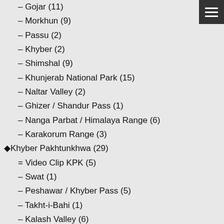– Gojar (11)
– Morkhun (9)
– Passu (2)
– Khyber (2)
– Shimshal (9)
– Khunjerab National Park (15)
– Naltar Valley (2)
– Ghizer / Shandur Pass (1)
– Nanga Parbat / Himalaya Range (6)
– Karakorum Range (3)
◆Khyber Pakhtunkhwa (29)
= Video Clip KPK (5)
– Swat (1)
– Peshawar / Khyber Pass (5)
– Takht-i-Bahi (1)
– Kalash Valley (6)
– Chitral (7)
– Chitral Gol National Park (5)
– Shandur Pass (1)
◆ Punjab (31)
= Video Clip Punjab (12)
– Monument / Heritage of Punjab (13)
– Taxila (6)
– Wagha Border (4)
– Lahore (6)